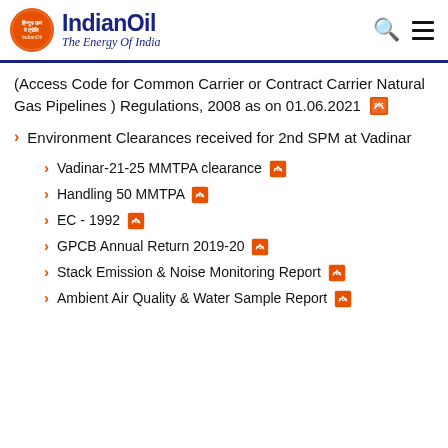IndianOil – The Energy Of India
(Access Code for Common Carrier or Contract Carrier Natural Gas Pipelines ) Regulations, 2008 as on 01.06.2021 [PDF]
Environment Clearances received for 2nd SPM at Vadinar
Vadinar-21-25 MMTPA clearance [PDF]
Handling 50 MMTPA [PDF]
EC - 1992 [PDF]
GPCB Annual Return 2019-20 [PDF]
Stack Emission & Noise Monitoring Report [PDF]
Ambient Air Quality & Water Sample Report [PDF]